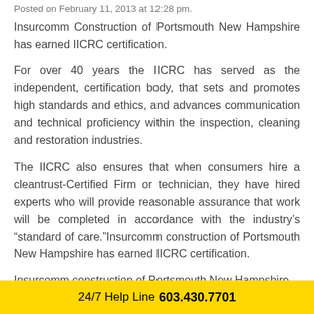Posted on February 11, 2013 at 12:28 pm.
Insurcomm Construction of Portsmouth New Hampshire has earned IICRC certification.
For over 40 years the IICRC has served as the independent, certification body, that sets and promotes high standards and ethics, and advances communication and technical proficiency within the inspection, cleaning and restoration industries.
The IICRC also ensures that when consumers hire a cleantrust-Certified Firm or technician, they have hired experts who will provide reasonable assurance that work will be completed in accordance with the industry’s “standard of care.”Insurcomm construction of Portsmouth New Hampshire has earned IICRC certification.
Insurcomm construction of Portsmouth New Hampshire
24/7 Help Line 603.430.7701